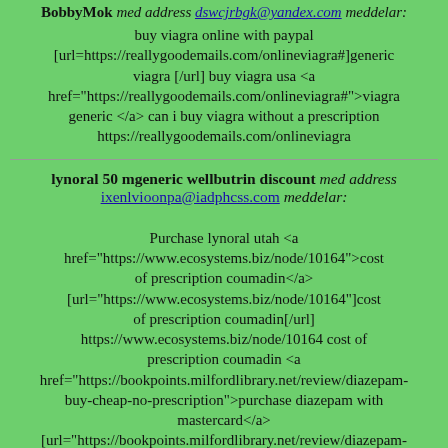BobbyMok med address dswcjrbgk@yandex.com meddelar:
buy viagra online with paypal [url=https://reallygoodemails.com/onlineviagra#]generic viagra [/url] buy viagra usa <a href="https://reallygoodemails.com/onlineviagra#">viagra generic </a> can i buy viagra without a prescription https://reallygoodemails.com/onlineviagra
lynoral 50 mgeneric wellbutrin discount med address ixenlvioonpa@iadphcss.com meddelar:
Purchase lynoral utah <a href="https://www.ecosystems.biz/node/10164">cost of prescription coumadin</a> [url="https://www.ecosystems.biz/node/10164"]cost of prescription coumadin[/url] https://www.ecosystems.biz/node/10164 cost of prescription coumadin <a href="https://bookpoints.milfordlibrary.net/review/diazepam-buy-cheap-no-prescription">purchase diazepam with mastercard</a> [url="https://bookpoints.milfordlibrary.net/review/diazepam-buy-cheap-no-prescription"]purchase diazepam with mastercard[/url]